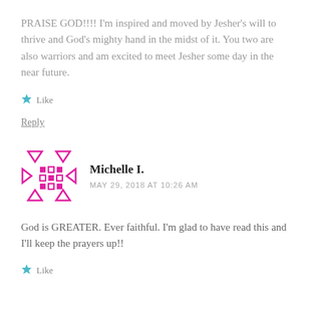PRAISE GOD!!!! I'm inspired and moved by Jesher's will to thrive and God's mighty hand in the midst of it. You two are also warriors and am excited to meet Jesher some day in the near future.
★ Like
Reply
Michelle I.
MAY 29, 2018 AT 10:26 AM
God is GREATER. Ever faithful. I'm glad to have read this and I'll keep the prayers up!!
★ Like